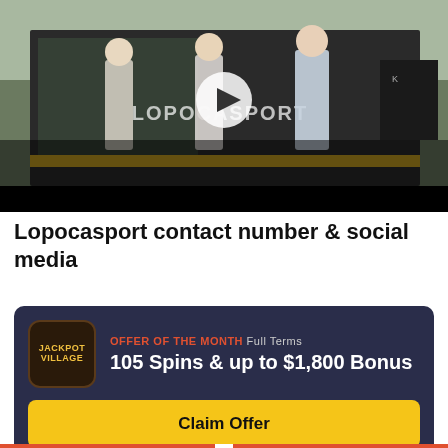[Figure (photo): Video thumbnail showing three men standing in front of a Lopocasport storefront with a play button overlay. The scene shows a dark-framed store exterior, the men are dressed in business casual attire. Below the image is a black video control bar.]
Lopocasport contact number & social media
[Figure (infographic): Jackpot Village casino promotional card with dark navy background. Shows Jackpot Village logo on left, 'OFFER OF THE MONTH Full Terms' in orange/grey text, '105 Spins & up to $1,800 Bonus' in white bold text, and a yellow 'Claim Offer' button.]